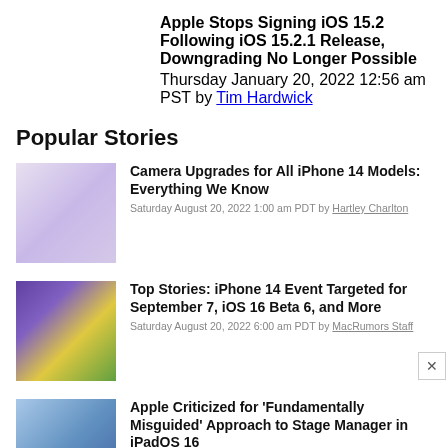Apple Stops Signing iOS 15.2 Following iOS 15.2.1 Release, Downgrading No Longer Possible
Thursday January 20, 2022 12:56 am PST by Tim Hardwick
Popular Stories
Camera Upgrades for All iPhone 14 Models: Everything We Know
Saturday August 20, 2022 1:00 am PDT by Hartley Charlton
Top Stories: iPhone 14 Event Targeted for September 7, iOS 16 Beta 6, and More
Saturday August 20, 2022 6:00 am PDT by MacRumors Staff
Apple Criticized for 'Fundamentally Misguided' Approach to Stage Manager in iPadOS 16
Friday August 19, 2022 1:57 am PDT by Sami Fathi
TikTok's In-App Browser Reportedly Capable of Monitoring Anything You Type